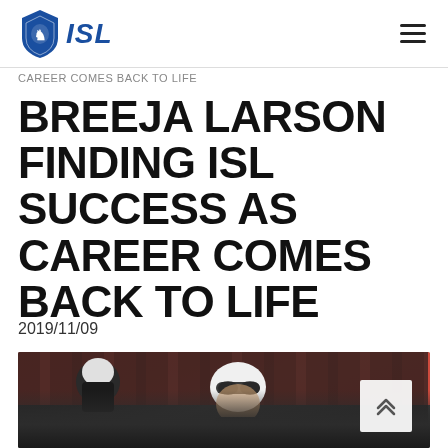ISL
CAREER COMES BACK TO LIFE
BREEJA LARSON FINDING ISL SUCCESS AS CAREER COMES BACK TO LIFE
2019/11/09
[Figure (photo): Swimmer Breeja Larson with goggles on forehead, white swim cap, in a pool with red stadium seats in the background and other swimmers visible]